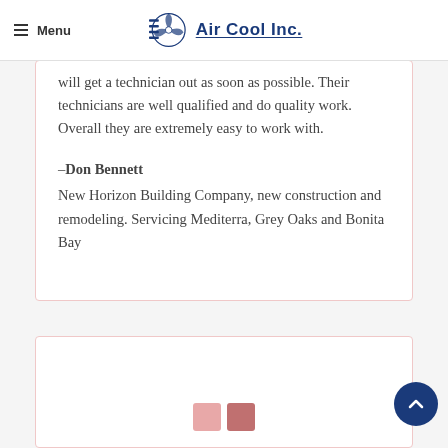Menu | Air Cool Inc.
will get a technician out as soon as possible. Their technicians are well qualified and do quality work.  Overall they are extremely easy to work with.
–Don Bennett
New Horizon Building Company, new construction and remodeling. Servicing Mediterra, Grey Oaks and Bonita Bay